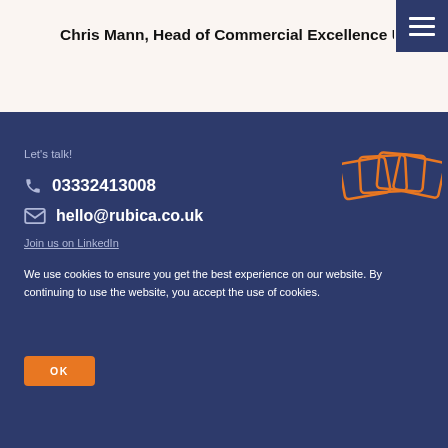Chris Mann, Head of Commercial Excellence U
Let's talk!
03332413008
hello@rubica.co.uk
Join us on LinkedIn
[Figure (illustration): Decorative overlapping card/envelope shapes in orange outline style]
We use cookies to ensure you get the best experience on our website. By continuing to use the website, you accept the use of cookies.
OK